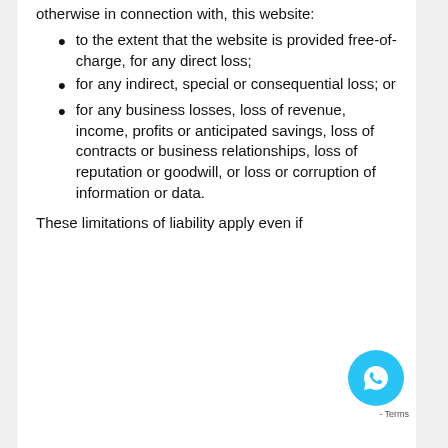otherwise in connection with, this website:
to the extent that the website is provided free-of-charge, for any direct loss;
for any indirect, special or consequential loss; or
for any business losses, loss of revenue, income, profits or anticipated savings, loss of contracts or business relationships, loss of reputation or goodwill, or loss or corruption of information or data.
These limitations of liability apply even if